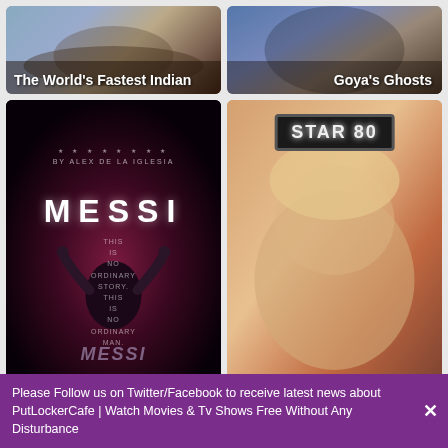[Figure (photo): Movie poster thumbnail for 'The World's Fastest Indian' with title text overlay]
[Figure (photo): Movie poster thumbnail for 'Goya's Ghosts' with title text overlay]
[Figure (photo): Movie poster for 'Messi' showing a figure with arms raised, dark dramatic background]
[Figure (photo): Movie poster for 'Star 80' showing a blonde woman with a black license plate reading STAR 80]
[Figure (photo): Movie thumbnail showing a figure wearing a hat near a doorway]
[Figure (photo): Movie poster thumbnail for 'A Street Cat Named' with orange text on light background]
Please Follow us on Twitter/Facebook to receive latest news about PutLockerCafe | Watch Movies & Tv Shows Free Without Any Disturbance